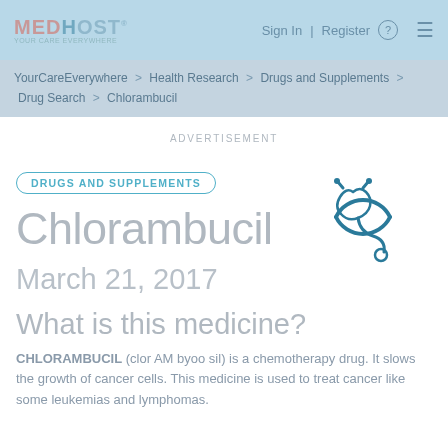[Figure (logo): MEDHOST logo in light blue/pink colors]
Sign In | Register  ≡
YourCareEverywhere > Health Research > Drugs and Supplements > Drug Search > Chlorambucil
ADVERTISEMENT
[Figure (illustration): Stethoscope icon with circular arc, teal/dark blue colors]
DRUGS AND SUPPLEMENTS
Chlorambucil
March 21, 2017
What is this medicine?
CHLORAMBUCIL (clor AM byoo sil) is a chemotherapy drug. It slows the growth of cancer cells. This medicine is used to treat cancer like some leukemias and lymphomas.